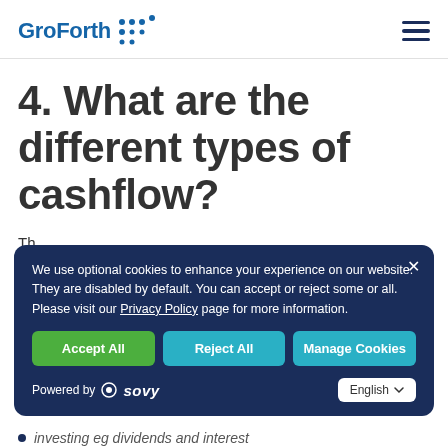GroForth [logo with dots]
4. What are the different types of cashflow?
Th...
We use optional cookies to enhance your experience on our website. They are disabled by default. You can accept or reject some or all. Please visit our Privacy Policy page for more information.
Investing eg dividends and interest